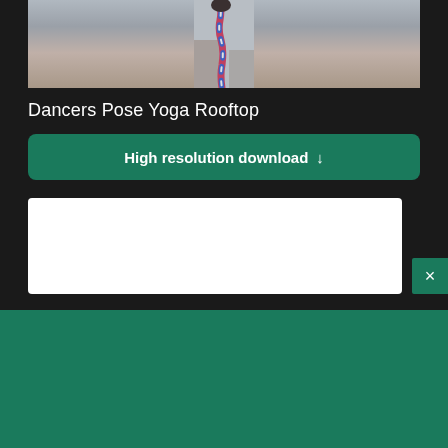[Figure (photo): Dancers Pose Yoga on a rooftop — close-up of a person's legs/feet in a colorful braided rope or patterned yoga prop against an urban rooftop background]
Dancers Pose Yoga Rooftop
High resolution download ↓
[Figure (screenshot): White content box (partially visible advertisement or page content area)]
×
[Figure (logo): Shopify logo — shopping bag icon and italic 'shopify' wordmark in white on green background]
Need an online store for your business?
Start free trial